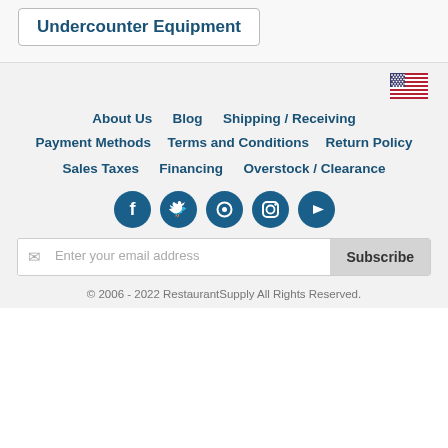Undercounter Equipment
[Figure (illustration): US flag icon]
About Us   Blog   Shipping / Receiving
Payment Methods   Terms and Conditions   Return Policy
Sales Taxes   Financing   Overstock / Clearance
[Figure (illustration): Social media icons: Facebook, Twitter, Pinterest, Instagram, YouTube]
Enter your email address  Subscribe
© 2006 - 2022 RestaurantSupply All Rights Reserved.